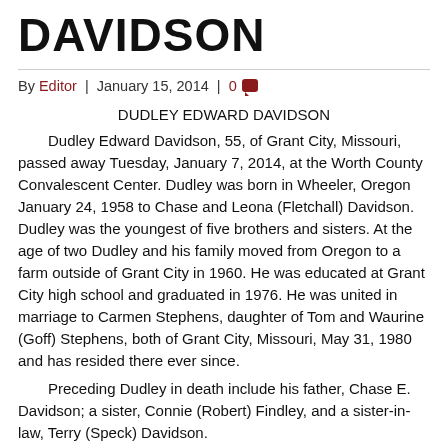DAVIDSON
By Editor | January 15, 2014 | 0
DUDLEY EDWARD DAVIDSON
Dudley Edward Davidson, 55, of Grant City, Missouri, passed away Tuesday, January 7, 2014, at the Worth County Convalescent Center. Dudley was born in Wheeler, Oregon January 24, 1958 to Chase and Leona (Fletchall) Davidson. Dudley was the youngest of five brothers and sisters. At the age of two Dudley and his family moved from Oregon to a farm outside of Grant City in 1960. He was educated at Grant City high school and graduated in 1976. He was united in marriage to Carmen Stephens, daughter of Tom and Waurine (Goff) Stephens, both of Grant City, Missouri, May 31, 1980 and has resided there ever since.
Preceding Dudley in death include his father, Chase E. Davidson; a sister, Connie (Robert) Findley, and a sister-in-law, Terry (Speck) Davidson.
Survivors include his wife, Carmen of the home; mother, Leona